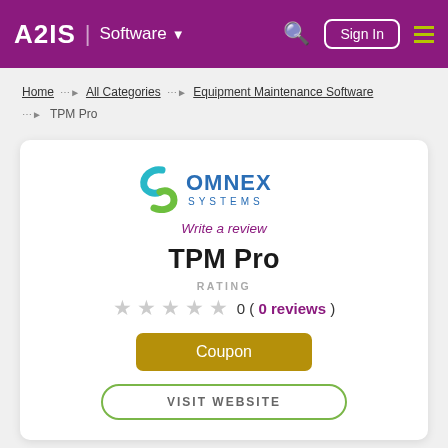A2IS | Software — Sign In (navigation bar)
Home > All Categories > Equipment Maintenance Software > TPM Pro
[Figure (logo): Omnex Systems logo with stylized 'S' icon in teal/green and blue text reading OMNEX SYSTEMS]
Write a review
TPM Pro
RATING
0 ( 0 reviews )
Coupon
VISIT WEBSITE